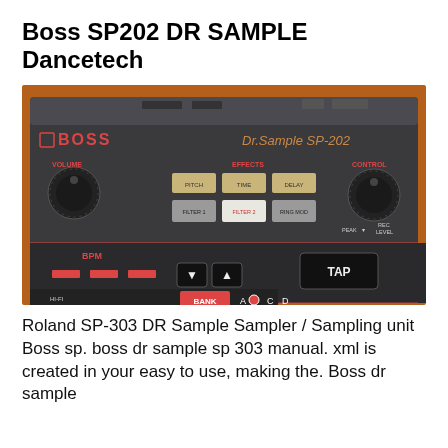Boss SP202 DR SAMPLE Dancetech
[Figure (photo): Close-up photograph of a Boss Dr. Sample SP-202 hardware sampler device, showing the front panel with BOSS logo, Dr.Sample SP-202 text, VOLUME knob, EFFECTS section with PITCH, TIME, DELAY, FILTER 1, FILTER 2, RING MOD buttons, CONTROL knob with REC LEVEL and PEAK labels, BPM section with red LED indicators, up/down arrow buttons, TAP button, and BANK selector showing A B C D options. The device has a dark grey/black body with orange/red accent text and buttons.]
Roland SP-303 DR Sample Sampler / Sampling unit Boss sp. boss dr sample sp 303 manual. xml is created in your easy to use, making the. Boss dr sample